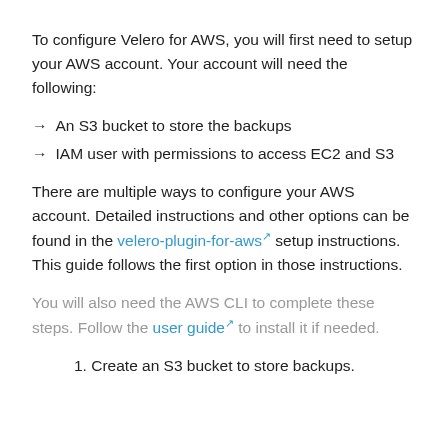To configure Velero for AWS, you will first need to setup your AWS account. Your account will need the following:
→ An S3 bucket to store the backups
→ IAM user with permissions to access EC2 and S3
There are multiple ways to configure your AWS account. Detailed instructions and other options can be found in the velero-plugin-for-aws setup instructions. This guide follows the first option in those instructions.
You will also need the AWS CLI to complete these steps. Follow the user guide to install it if needed.
1. Create an S3 bucket to store backups.